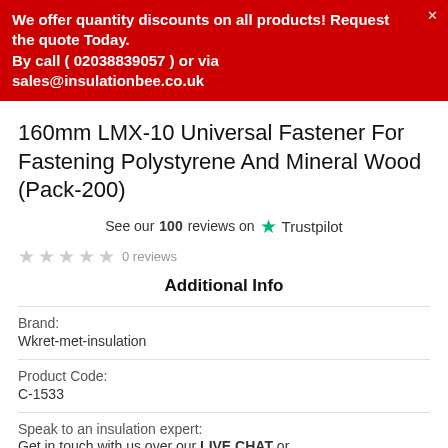We offer quantity discounts on all products! Request the quote Today.
By call ( 02038839057 ) or via sales@insulationbee.co.uk
160mm LMX-10 Universal Fastener For Fastening Polystyrene And Mineral Wood (Pack-200)
See our 100 reviews on ★ Trustpilot
☆ ☆ ☆ ☆ ☆ 0 reviews
Additional Info
Brand:
Wkret-met-insulation
Product Code:
C-1533
Speak to an insulation expert:
Get in touch with us over our LIVE CHAT or